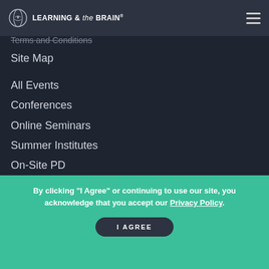Learning & the Brain
About Us
Contact Us
Terms and Conditions
Site Map
All Events
Conferences
Online Seminars
Summer Institutes
On-Site PD
Conference Speakers
L&B Blog
Learning Conferences
Boston Education Conferences
New York Education Conferences
San Francisco Education Conferences
By clicking “I Agree” or continuing to use our site, you acknowledge that you accept our Privacy Policy.
I AGREE